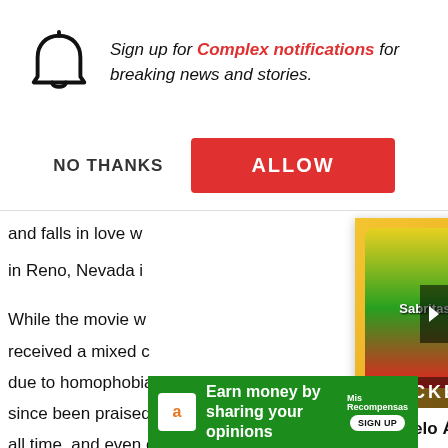[Figure (screenshot): Browser notification permission dialog from Complex.com with bell icon, message 'Sign up for Complex notifications for breaking news and stories.', NO THANKS and ALLOW buttons]
and falls in love w... in Reno, Nevada i...
While the movie w... received a mixed c... due to homophobia... since been praised... all time, and even one of the most romantic films of
[Figure (screenshot): Video widget thumbnail showing Canelo Álvarez holding Sabritas and Pulparindo snacks, with title 'Canelo Álvarez Breaks Down His Favorite Snacks | Snacked']
Canelo Álvarez Breaks Down HisFavorite Snacks | Snacked
[Figure (screenshot): Green advertisement banner: 'Earn money by sharing your opinions' with Amazon logo and Mis Recompensas logo and SIGN UP button]